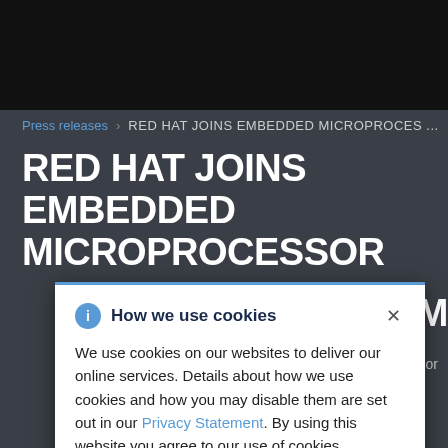Press releases > RED HAT JOINS EMBEDDED MICROPROCES...
RED HAT JOINS EMBEDDED MICROPROCESSOR
RTIUM
Processor
[Figure (screenshot): Cookie consent modal overlay with blue info icon, title 'How we use cookies', close X button, body text about cookie usage and a Privacy Statement link, on a dark grey webpage background showing a Red Hat press release page.]
How we use cookies
We use cookies on our websites to deliver our online services. Details about how we use cookies and how you may disable them are set out in our Privacy Statement. By using this website you agree to our use of cookies.